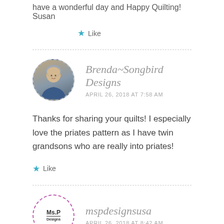have a wonderful day and Happy Quilting! Susan
Like
Brenda~Songbird Designs
APRIL 26, 2018 AT 7:58 AM
Thanks for sharing your quilts! I especially love the priates pattern as I have twin grandsons who are really into priates!
Like
mspdesignsusa
APRIL 26, 2018 AT 8:42 AM